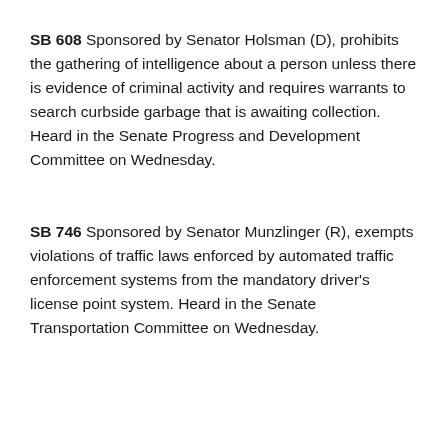SB 608 Sponsored by Senator Holsman (D), prohibits the gathering of intelligence about a person unless there is evidence of criminal activity and requires warrants to search curbside garbage that is awaiting collection. Heard in the Senate Progress and Development Committee on Wednesday.
SB 746 Sponsored by Senator Munzlinger (R), exempts violations of traffic laws enforced by automated traffic enforcement systems from the mandatory driver's license point system. Heard in the Senate Transportation Committee on Wednesday.